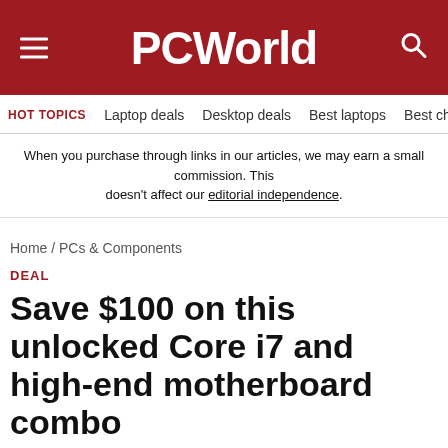PCWorld
HOT TOPICS   Laptop deals   Desktop deals   Best laptops   Best ch
When you purchase through links in our articles, we may earn a small commission. This doesn’t affect our editorial independence.
Home / PCs & Components
DEAL
Save $100 on this unlocked Core i7 and high-end motherboard combo
Newegg is selling the Core i7-10700KA and the Gigabyte Z490 Aorus Elite for under $500...